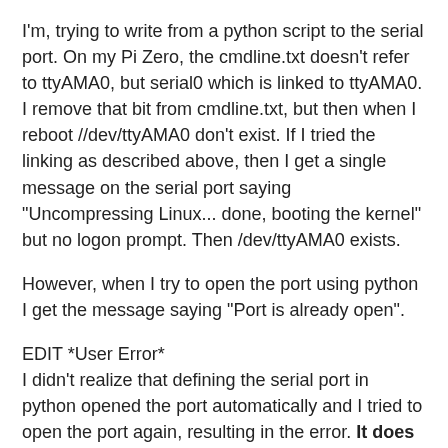I'm, trying to write from a python script to the serial port. On my Pi Zero, the cmdline.txt doesn't refer to ttyAMA0, but serial0 which is linked to ttyAMA0. I remove that bit from cmdline.txt, but then when I reboot //dev/ttyAMA0 don't exist. If I tried the linking as described above, then I get a single message on the serial port saying "Uncompressing Linux... done, booting the kernel" but no logon prompt. Then /dev/ttyAMA0 exists.
However, when I try to open the port using python I get the message saying "Port is already open".
EDIT *User Error*
I didn't realize that defining the serial port in python opened the port automatically and I tried to open the port again, resulting in the error. It does appear that just removing the references to ttyAMA0 or ttySerial0 in the /boot/cmdline.txt while enabling the use of the serial port using raspi-config will enable the use of the serial port from user land programs. I did also change